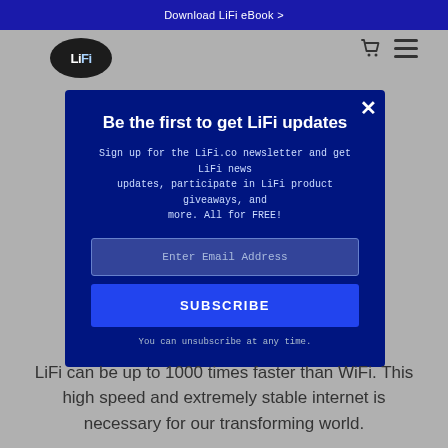Download LiFi eBook >
[Figure (logo): LiFi logo — circular dark badge with 'LiFi' text in white]
Be the first to get LiFi updates
Sign up for the LiFi.co newsletter and get LiFi news updates, participate in LiFi product giveaways, and more. All for FREE!
Enter Email Address
SUBSCRIBE
You can unsubscribe at any time.
LiFi can be up to 1000 times faster than WiFi. This high speed and extremely stable internet is necessary for our transforming world.